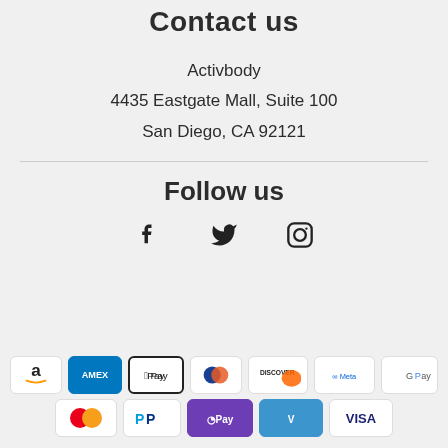Contact us
Activbody
4435 Eastgate Mall, Suite 100
San Diego, CA 92121
Follow us
[Figure (infographic): Social media icons: Facebook (f), Twitter (bird), Instagram (camera)]
[Figure (infographic): Payment method badges: Amazon, Amex, Apple Pay, Diners Club, Discover, Meta Pay, Google Pay, Mastercard, PayPal, GPay, Venmo, Visa]